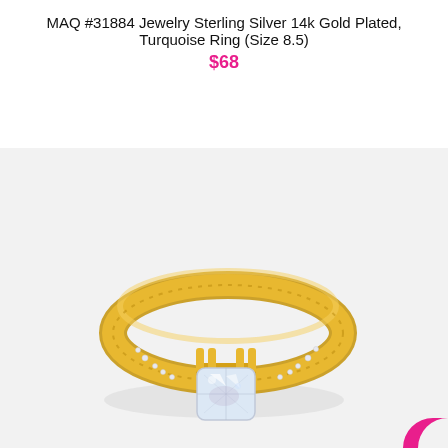MAQ #31884 Jewelry Sterling Silver 14k Gold Plated, Turquoise Ring (Size 8.5)
$68
[Figure (photo): A gold-plated sterling silver ring with a large cushion-cut clear gemstone center stone held in four gold prongs, accented with small pavé diamonds along the split shank band, photographed on a white marble surface.]